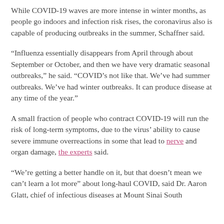While COVID-19 waves are more intense in winter months, as people go indoors and infection risk rises, the coronavirus also is capable of producing outbreaks in the summer, Schaffner said.
“Influenza essentially disappears from April through about September or October, and then we have very dramatic seasonal outbreaks,” he said. “COVID’s not like that. We’ve had summer outbreaks. We’ve had winter outbreaks. It can produce disease at any time of the year.”
A small fraction of people who contract COVID-19 will run the risk of long-term symptoms, due to the virus’ ability to cause severe immune overreactions in some that lead to nerve and organ damage, the experts said.
“We’re getting a better handle on it, but that doesn’t mean we can’t learn a lot more” about long-haul COVID, said Dr. Aaron Glatt, chief of infectious diseases at Mount Sinai South